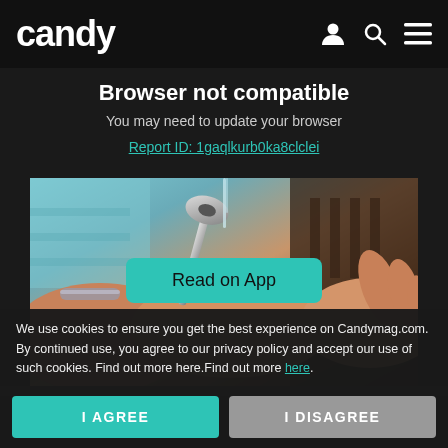candy
Browser not compatible
You may need to update your browser
Report ID: 1gaqlkurb0ka8clclei
[Figure (photo): Close-up photo of hands holding a key near a faucet or metal fixture, with blurred background]
Read on App
We use cookies to ensure you get the best experience on Candymag.com. By continued use, you agree to our privacy policy and accept our use of such cookies. Find out more here.Find out more here.
I AGREE
I DISAGREE